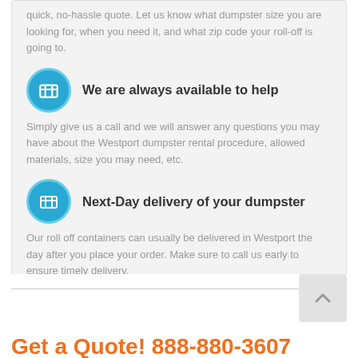quick, no-hassle quote. Let us know what dumpster size you are looking for, when you need it, and what zip code your roll-off is going to.
We are always available to help
Simply give us a call and we will answer any questions you may have about the Westport dumpster rental procedure, allowed materials, size you may need, etc.
Next-Day delivery of your dumpster
Our roll off containers can usually be delivered in Westport the day after you place your order. Make sure to call us early to ensure timely delivery.
Get a Quote! 888-880-3607